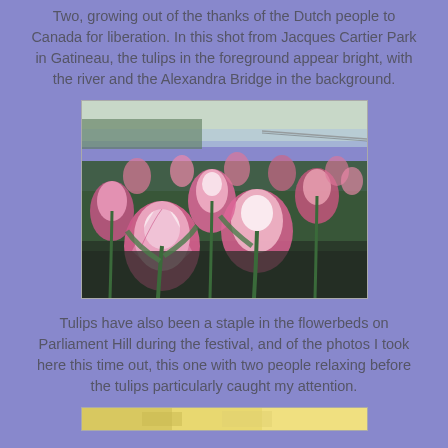Two, growing out of the thanks of the Dutch people to Canada for liberation. In this shot from Jacques Cartier Park in Gatineau, the tulips in the foreground appear bright, with the river and the Alexandra Bridge in the background.
[Figure (photo): A field of pink and white tulips in the foreground, with a river and the Alexandra Bridge visible in the background, taken at Jacques Cartier Park in Gatineau.]
Tulips have also been a staple in the flowerbeds on Parliament Hill during the festival, and of the photos I took here this time out, this one with two people relaxing before the tulips particularly caught my attention.
[Figure (photo): Partial view of another tulip photo at the bottom of the page, showing a yellow-toned image, likely from Parliament Hill.]